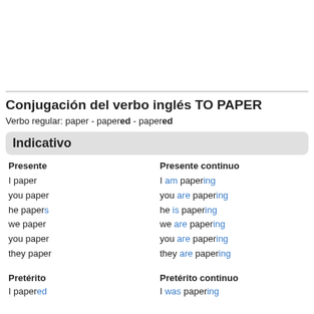Conjugación del verbo inglés TO PAPER
Verbo regular: paper - papered - papered
Indicativo
| Presente | Presente continuo |
| --- | --- |
| I paper | I am papering |
| you paper | you are papering |
| he papers | he is papering |
| we paper | we are papering |
| you paper | you are papering |
| they paper | they are papering |
| Pretérito | Pretérito continuo |
| --- | --- |
| I papered | I was papering |